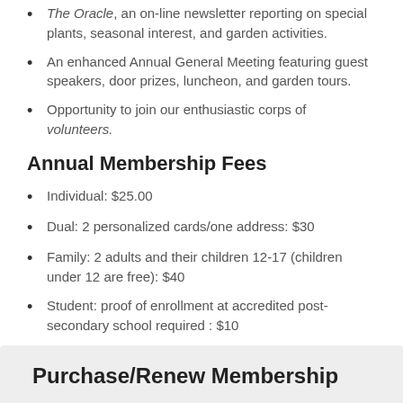The Oracle, an on-line newsletter reporting on special plants, seasonal interest, and garden activities.
An enhanced Annual General Meeting featuring guest speakers, door prizes, luncheon, and garden tours.
Opportunity to join our enthusiastic corps of volunteers.
Annual Membership Fees
Individual: $25.00
Dual: 2 personalized cards/one address: $30
Family: 2 adults and their children 12-17 (children under 12 are free): $40
Student: proof of enrollment at accredited post-secondary school required : $10
Purchase/Renew Membership